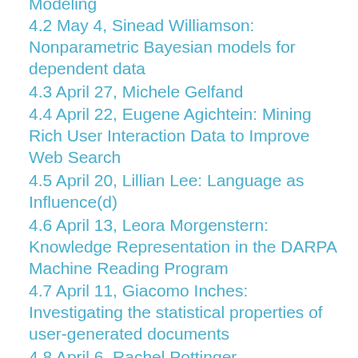Modeling
4.2 May 4, Sinead Williamson: Nonparametric Bayesian models for dependent data
4.3 April 27, Michele Gelfand
4.4 April 22, Eugene Agichtein: Mining Rich User Interaction Data to Improve Web Search
4.5 April 20, Lillian Lee: Language as Influence(d)
4.6 April 13, Leora Morgenstern: Knowledge Representation in the DARPA Machine Reading Program
4.7 April 11, Giacomo Inches: Investigating the statistical properties of user-generated documents
4.8 April 6, Rachel Pottinger
4.9 March 30, Sujith Ravi: Deciphering